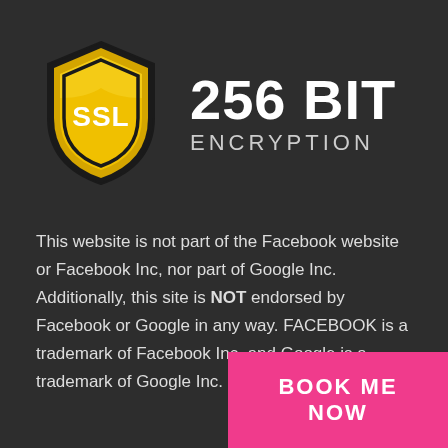[Figure (logo): SSL shield logo in gold/yellow with 'SSL' text inside, representing SSL 256 BIT ENCRYPTION badge]
256 BIT ENCRYPTION
This website is not part of the Facebook website or Facebook Inc, nor part of Google Inc. Additionally, this site is NOT endorsed by Facebook or Google in any way. FACEBOOK is a trademark of Facebook Inc, and Google is a trademark of Google Inc.
BOOK ME NOW